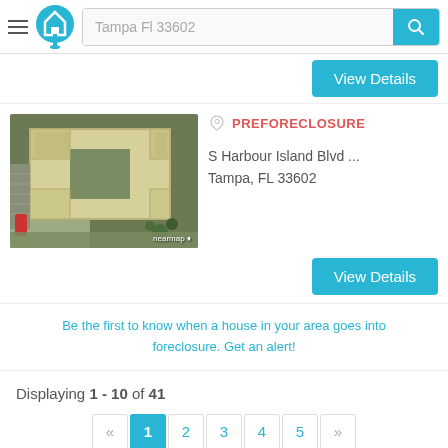Tampa Fl 33602
PREFORECLOSURE
S Harbour Island Blvd ...
Tampa, FL 33602
[Figure (photo): Aerial satellite/nearmap view of a building complex in Tampa, FL 33602, showing a large structure with a courtyard from above]
Be the first to know when a house in your area goes into foreclosure. Get an alert!
Displaying 1 - 10 of 41